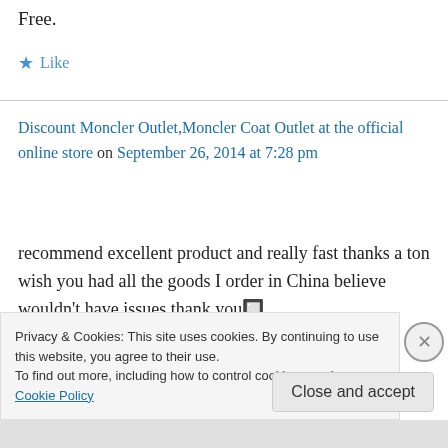Free.
★ Like
Discount Moncler Outlet,Moncler Coat Outlet at the official online store on September 26, 2014 at 7:28 pm
recommend excellent product and really fast thanks a ton wish you had all the goods I order in China believe wouldn't have issues thank you🔲🔲Domorou para chogar mas a bolsa o perfeita
Privacy & Cookies: This site uses cookies. By continuing to use this website, you agree to their use.
To find out more, including how to control cookies, see here: Cookie Policy
Close and accept